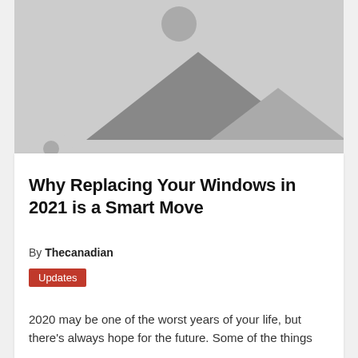[Figure (illustration): Placeholder image with light gray background showing a stylized mountain/landscape icon (two triangles representing mountains with a small circle for sun)]
Why Replacing Your Windows in 2021 is a Smart Move
By Thecanadian
Updates
2020 may be one of the worst years of your life, but there's always hope for the future. Some of the things